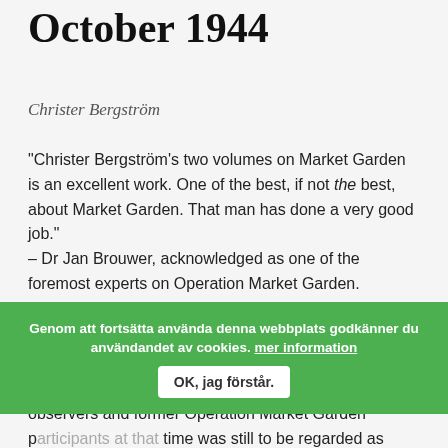October 1944
Christer Bergström
“Christer Bergström’s two volumes on Market Garden is an excellent work. One of the best, if not the best, about Market Garden. That man has done a very good job.”
– Dr Jan Brouwer, acknowledged as one of the foremost experts on Operation Market Garden.
All previous published accounts of Operation “Market Garden” end the main story with the evacuation of the British airborne troops from Oosterbeek – which observers and former Operation Market Garden participants at that time was still to be regarded as essentially a great
Genom att fortsätta använda denna webbplats godkänner du användandet av cookies. mer information OK, jag förstår.